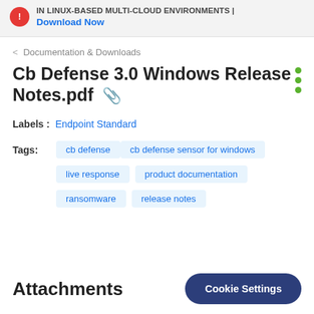IN LINUX-BASED MULTI-CLOUD ENVIRONMENTS | Download Now
< Documentation & Downloads
Cb Defense 3.0 Windows Release Notes.pdf 📎
Labels : Endpoint Standard
Tags: cb defense   cb defense sensor for windows   live response   product documentation   ransomware   release notes
Attachments
Cookie Settings